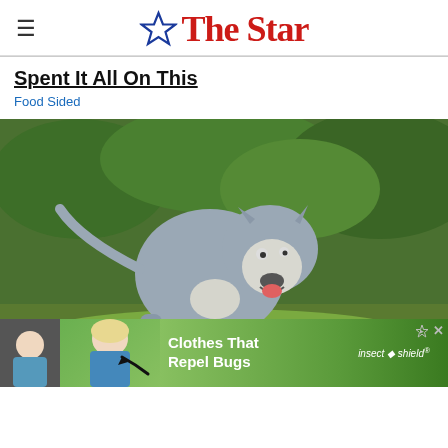The Star
Spent It All On This
Food Sided
[Figure (photo): A large gray and white pit bull type dog standing on grass outdoors with green vegetation in the background.]
[Figure (photo): Advertisement banner: woman in blue top with arrow pointing at her, text 'Clothes That Repel Bugs' with 'insect shield' branding.]